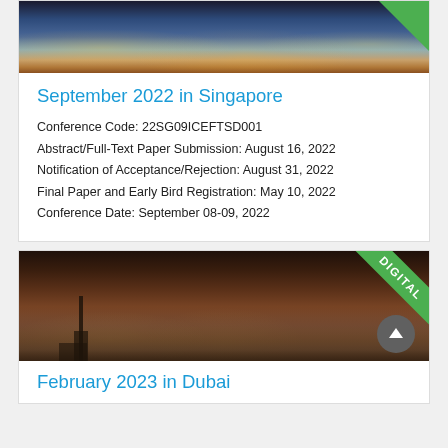[Figure (photo): Aerial night cityscape photo of Singapore with city lights, showing urban skyline with green diagonal corner banner]
September 2022 in Singapore
Conference Code: 22SG09ICEFTSD001
Abstract/Full-Text Paper Submission: August 16, 2022
Notification of Acceptance/Rejection: August 31, 2022
Final Paper and Early Bird Registration: May 10, 2022
Conference Date: September 08-09, 2022
[Figure (photo): Night cityscape photo of Dubai with Burj Khalifa and Burj Al Arab visible, hazy sky, with DIGITAL green corner badge]
February 2023 in Dubai